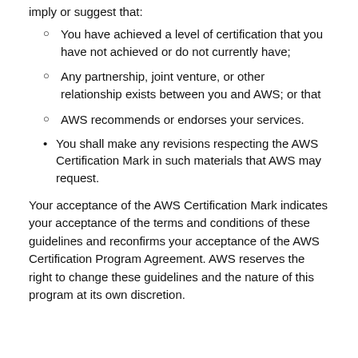imply or suggest that:
You have achieved a level of certification that you have not achieved or do not currently have;
Any partnership, joint venture, or other relationship exists between you and AWS; or that
AWS recommends or endorses your services.
You shall make any revisions respecting the AWS Certification Mark in such materials that AWS may request.
Your acceptance of the AWS Certification Mark indicates your acceptance of the terms and conditions of these guidelines and reconfirms your acceptance of the AWS Certification Program Agreement. AWS reserves the right to change these guidelines and the nature of this program at its own discretion.